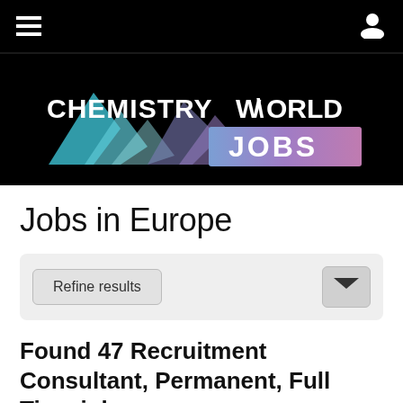Chemistry World Jobs
[Figure (logo): Chemistry World Jobs logo on black background with geometric diamond shapes in teal and purple]
Jobs in Europe
Refine results
Found 47 Recruitment Consultant, Permanent, Full Time jobs